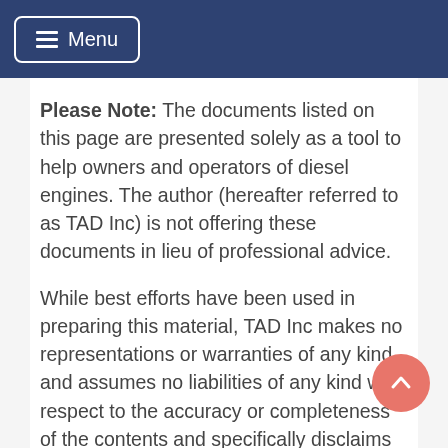Menu
Please Note: The documents listed on this page are presented solely as a tool to help owners and operators of diesel engines. The author (hereafter referred to as TAD Inc) is not offering these documents in lieu of professional advice.
While best efforts have been used in preparing this material, TAD Inc makes no representations or warranties of any kind and assumes no liabilities of any kind with respect to the accuracy or completeness of the contents and specifically disclaims any implied